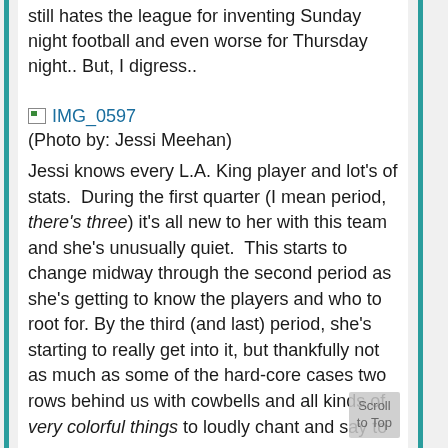still hates the league for inventing Sunday night football and even worse for Thursday night.. But, I digress..
[Figure (other): Broken image placeholder link labeled IMG_0597]
(Photo by: Jessi Meehan)
Jessi knows every L.A. King player and lot's of stats.  During the first quarter (I mean period, there's three) it's all new to her with this team and she's unusually quiet.  This starts to change midway through the second period as she's getting to know the players and who to root for. By the third (and last) period, she's starting to really get into it, but thankfully not as much as some of the hard-core cases two rows behind us with cowbells and all kinds of very colorful things to loudly chant and say to